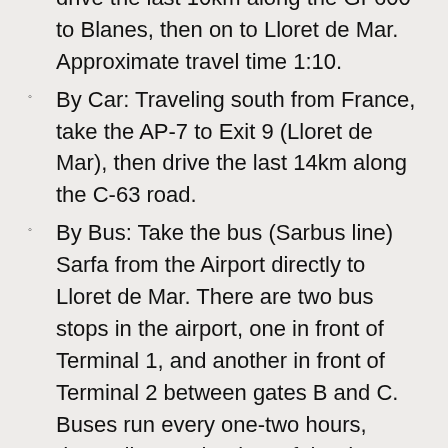drive the last 10km along the GI-600 to Blanes, then on to Lloret de Mar. Approximate travel time 1:10.
By Car:  Traveling south from France, take the AP-7 to Exit 9 (Lloret de Mar), then drive the last 14km along the C-63 road.
By Bus:  Take the bus (Sarbus line) Sarfa from the Airport directly to Lloret de Mar. There are two bus stops in the airport, one in front of Terminal 1, and another in front of Terminal 2 between gates B and C. Buses run every one-two hours, depending on the time of the day. The bus stop in Lloret is about an 8 minute walk or a 3 minute taxi ride. The bus cost is 12.90 Euro. Look for discount ticket information coming soon.
By Train:  There is no train directly to Lloret de